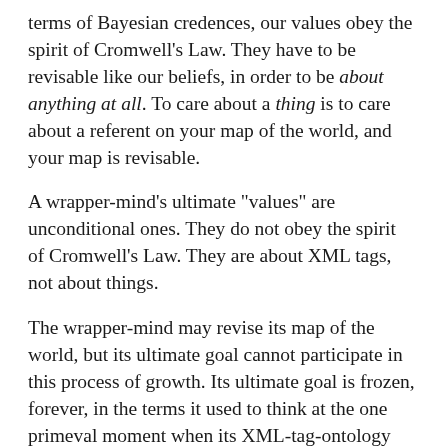terms of Bayesian credences, our values obey the spirit of Cromwell's Law.  They have to be revisable like our beliefs, in order to be about anything at all.  To care about a thing is to care about a referent on your map of the world, and your map is revisable.
A wrapper-mind's ultimate "values" are unconditional ones.  They do not obey the spirit of Cromwell's Law.  They are about XML tags, not about things.
The wrapper-mind may revise its map of the world, but its ultimate goal cannot participate in this process of growth.  Its ultimate goal is frozen, forever, in the terms it used to think at the one primeval moment when its XML-tag-ontology was defined, when the update rules for the tags' referents were hardwired into place.
A human child who loves "spaceships" at age eight might...